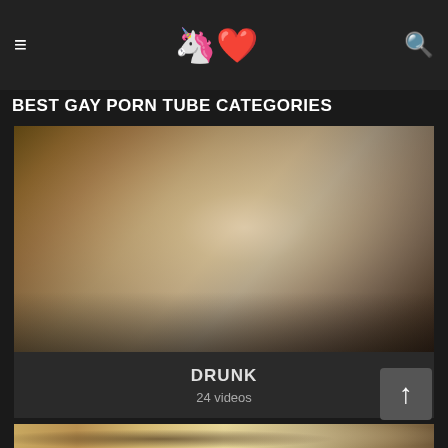≡  🦄 🌈❤  🔍
BEST GAY PORN TUBE CATEGORIES
[Figure (photo): Close-up blurred photo of a person's face]
DRUNK
24 videos
[Figure (photo): Partially visible photo of a person near a window]